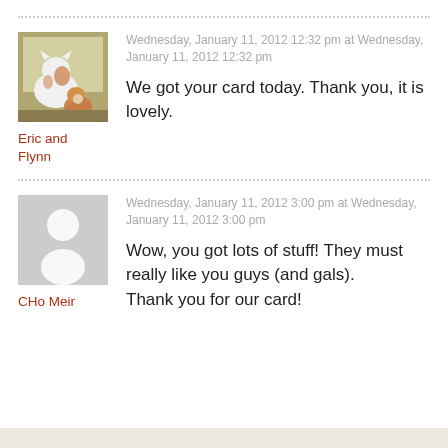[Figure (photo): Photo of two cats (white and orange/white) on a windowsill]
Eric and Flynn
Wednesday, January 11, 2012 12:32 pm at Wednesday, January 11, 2012 12:32 pm
We got your card today. Thank you, it is lovely.
[Figure (illustration): Gray anonymous person silhouette placeholder avatar]
CHo Meir
Wednesday, January 11, 2012 3:00 pm at Wednesday, January 11, 2012 3:00 pm
Wow, you got lots of stuff! They must really like you guys (and gals). Thank you for our card!